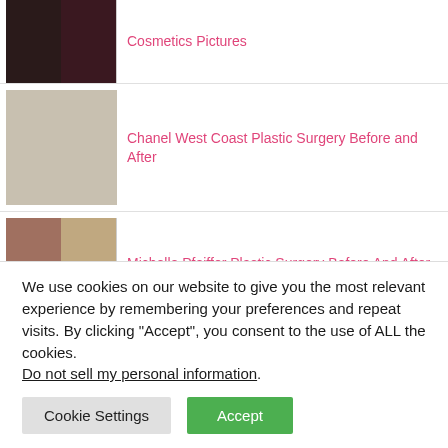Cosmetics Pictures
Chanel West Coast Plastic Surgery Before and After
Michelle Pfeiffer Plastic Surgery Before And After Nose Job, Facelift
Leslie Mann Plastic Surgery Before And After Photos
We use cookies on our website to give you the most relevant experience by remembering your preferences and repeat visits. By clicking “Accept”, you consent to the use of ALL the cookies.
Do not sell my personal information.